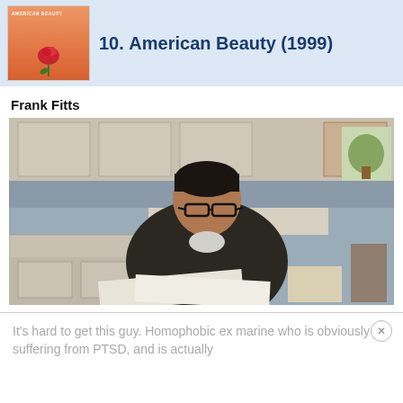[Figure (other): Movie poster for American Beauty (1999) — orange background with rose]
10. American Beauty (1999)
Frank Fitts
[Figure (photo): Scene from American Beauty showing a man with glasses and dark jacket sitting at a kitchen table, reading papers]
It's hard to get this guy. Homophobic ex marine who is obviously suffering from PTSD, and is actually